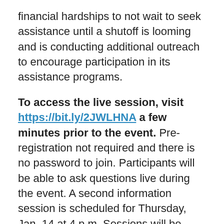financial hardships to not wait to seek assistance until a shutoff is looming and is conducting additional outreach to encourage participation in its assistance programs.
To access the live session, visit https://bit.ly/2JWLHNA a few minutes prior to the event. Pre-registration not required and there is no password to join. Participants will be able to ask questions live during the event. A second information session is scheduled for Thursday, Jan. 14 at 4 p.m. Sessions will be recorded and posted to the company's YouTube channel for customers who cannot participate live.
For more information, download this event flyer or visit